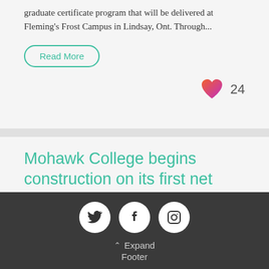graduate certificate program that will be delivered at Fleming's Frost Campus in Lindsay, Ont. Through...
Read More
Mohawk College begins construction on its first net zero energy institutional building
Mohawk College
from Daily Commercial News: EllisDon broke ground on the
Expand Footer